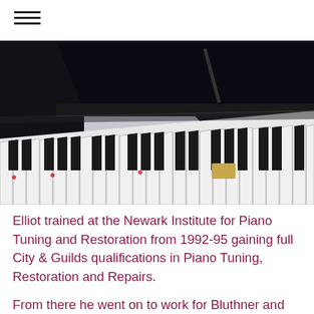[Figure (photo): Close-up photograph of a grand piano keyboard showing black and white keys, viewed from an angle, with the shiny black body of the piano visible in the background.]
Elliot trained at the Newark Institute for Piano Tuning and Restoration from 1992-95 gaining full City & Guilds qualifications in Piano Tuning, Restoration and Repairs.
From there he went on to work for Bluthner and Wolmar piano company